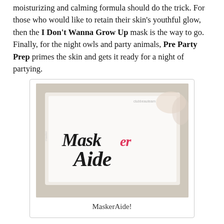moisturizing and calming formula should do the trick. For those who would like to retain their skin's youthful glow, then the I Don't Wanna Grow Up mask is the way to go. Finally, for the night owls and party animals, Pre Party Prep primes the skin and gets it ready for a night of partying.
[Figure (photo): Photo of a MaskerAide sheet mask package showing the brand logo in cursive script with 'her' in pink/red and the rest in black, on a white card against a light floral background. Watermark 'clubbeauteam' in top right corner.]
MaskerAide!
All of MaskerAide's sheet masks are drenched in a highly-concentrated, Argan Oil-based serum. And as we all know, Argan Oil is greatly valued for its nutritive, cosmetic and numerous medicinal properties.
In addition, MaskerAide takes pride in their mask's gentle formulation, making their product suitable for even those with sensitive skin. Their sheet masks are free from harmful...